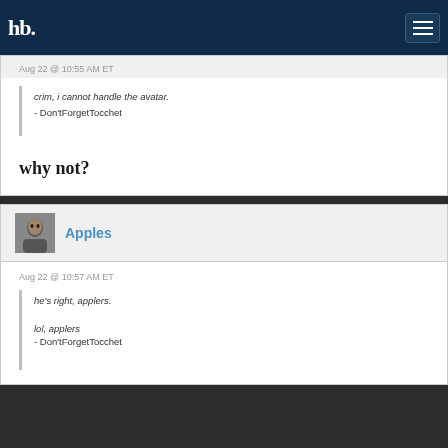hb [logo] [hamburger menu]
Aug 22 @ 10:55 AM ET
crim, i cannot handle the avatar.
- Don'tForgetTocchet
why not?
Apples
Aug 22 @ 10:57 AM ET
he's right, applers.

lol, applers
- Don'tForgetTocchet